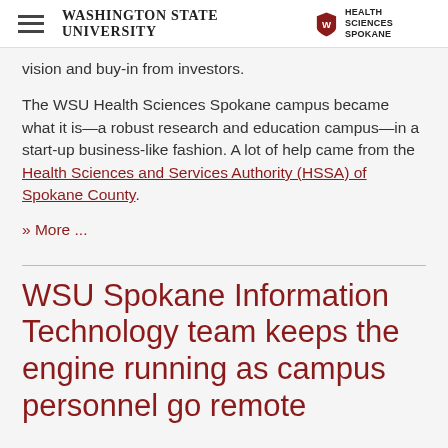Washington State University Health Sciences Spokane
vision and buy-in from investors.
The WSU Health Sciences Spokane campus became what it is—a robust research and education campus—in a start-up business-like fashion. A lot of help came from the Health Sciences and Services Authority (HSSA) of Spokane County.
» More ...
WSU Spokane Information Technology team keeps the engine running as campus personnel go remote